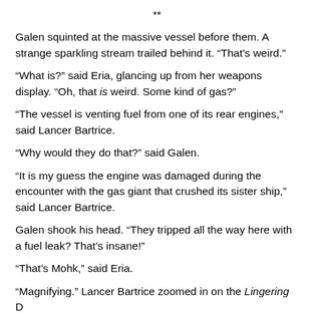**
Galen squinted at the massive vessel before them. A strange sparkling stream trailed behind it. “That’s weird.”
“What is?” said Eria, glancing up from her weapons display. “Oh, that is weird. Some kind of gas?”
“The vessel is venting fuel from one of its rear engines,” said Lancer Bartrice.
“Why would they do that?” said Galen.
“It is my guess the engine was damaged during the encounter with the gas giant that crushed its sister ship,” said Lancer Bartrice.
Galen shook his head. “They tripped all the way here with a fuel leak? That’s insane!”
“That’s Mohk,” said Eria.
“Magnifying.” Lancer Bartrice zoomed in on the Lingering D...